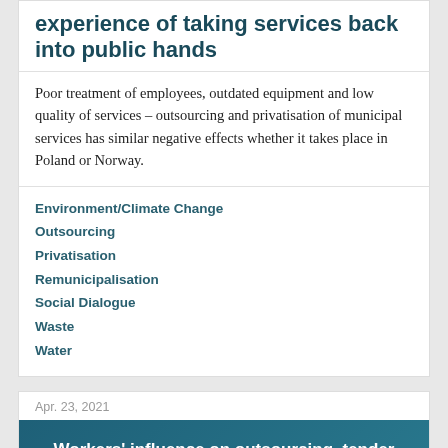experience of taking services back into public hands
Poor treatment of employees, outdated equipment and low quality of services – outsourcing and privatisation of municipal services has similar negative effects whether it takes place in Poland or Norway.
Environment/Climate Change
Outsourcing
Privatisation
Remunicipalisation
Social Dialogue
Waste
Water
Apr. 23, 2021
[Figure (illustration): Teal banner with white bold text reading: Workers' influence on outsourcing, tender processes and transfer of employment contracts:]